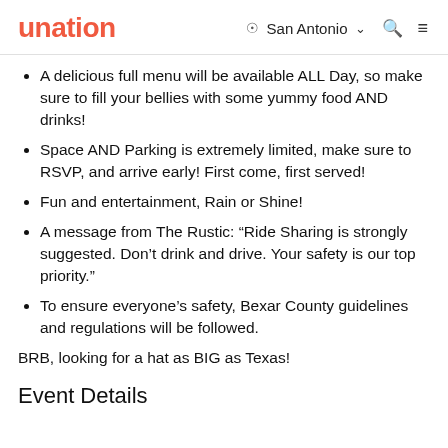unation | San Antonio
A delicious full menu will be available ALL Day, so make sure to fill your bellies with some yummy food AND drinks!
Space AND Parking is extremely limited, make sure to RSVP, and arrive early! First come, first served!
Fun and entertainment, Rain or Shine!
A message from The Rustic: “Ride Sharing is strongly suggested. Don’t drink and drive. Your safety is our top priority.”
To ensure everyone’s safety, Bexar County guidelines and regulations will be followed.
BRB, looking for a hat as BIG as Texas!
Event Details